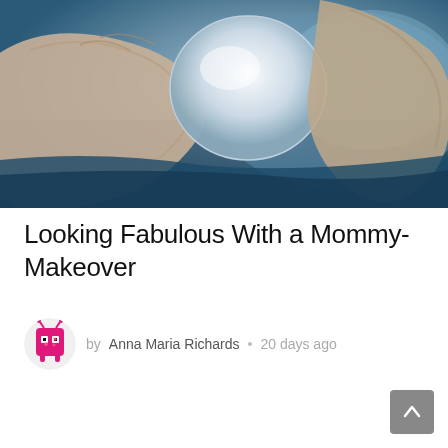[Figure (photo): Close-up photo of gloved medical/surgical hands holding a round implant or medical device against a blue-lit background]
Looking Fabulous With a Mommy-Makeover
by Anna Maria Richards • 20 days ago